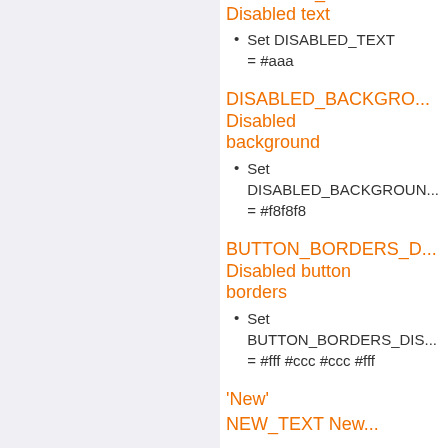DISABLED_TEXT Disabled text
Set DISABLED_TEXT = #aaa
DISABLED_BACKGROUND Disabled background
Set DISABLED_BACKGROUND = #f8f8f8
BUTTON_BORDERS_D... Disabled button borders
Set BUTTON_BORDERS_DIS... = #fff #ccc #ccc #fff
'New'
NEW_TEXT New...